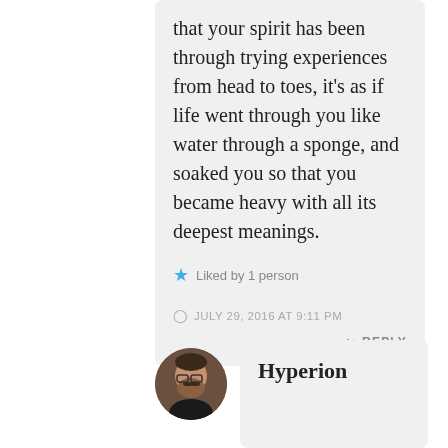that your spirit has been through trying experiences from head to toes, it's as if life went through you like water through a sponge, and soaked you so that you became heavy with all its deepest meanings.
Liked by 1 person
JULY 29, 2016 AT 9:11 PM
REPLY
[Figure (photo): Circular avatar photo of a man with glasses and a beard, wearing a dark shirt]
Hyperion